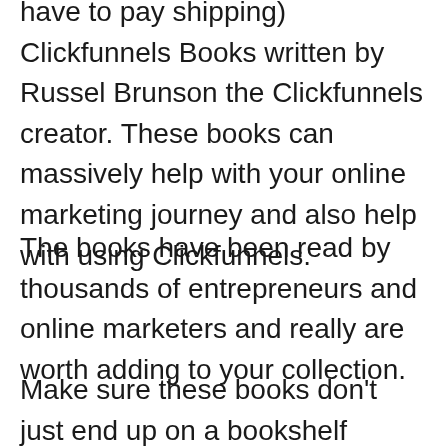have to pay shipping) Clickfunnels Books written by Russel Brunson the Clickfunnels creator. These books can massively help with your online marketing journey and also help with using Clickfunnels.
The books have been read by thousands of entrepreneurs and online marketers and really are worth adding to your collection.
Make sure these books don't just end up on a bookshelf unread. They include crucial information for